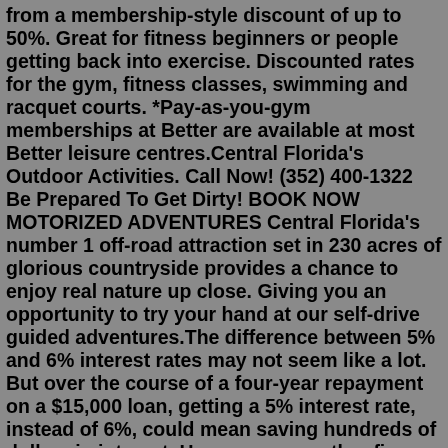from a membership-style discount of up to 50%. Great for fitness beginners or people getting back into exercise. Discounted rates for the gym, fitness classes, swimming and racquet courts. *Pay-as-you-gym memberships at Better are available at most Better leisure centres.Central Florida's Outdoor Activities. Call Now! (352) 400-1322 Be Prepared To Get Dirty! BOOK NOW MOTORIZED ADVENTURES Central Florida's number 1 off-road attraction set in 230 acres of glorious countryside provides a chance to enjoy real nature up close. Giving you an opportunity to try your hand at our self-drive guided adventures.The difference between 5% and 6% interest rates may not seem like a lot. But over the course of a four-year repayment on a $15,000 loan, getting a 5% interest rate, instead of 6%, could mean saving hundreds of dollars in interest. Here are some other figures to look for, compare and even negotiate. Total dollar amount you're borrowing.Play Road Rash game online in your browser free of charge on Arcade Spot. Road Rash is a high quality game that